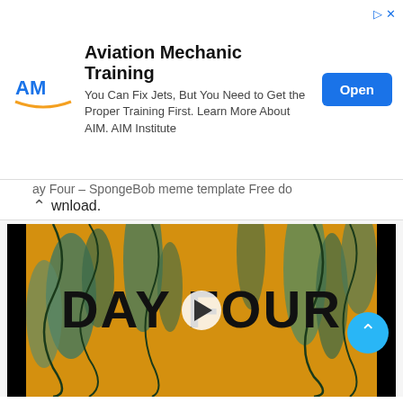[Figure (infographic): Aviation Mechanic Training advertisement banner with AM logo, tagline text, and blue Open button]
Day Four – SpongeBob meme template free download.
[Figure (screenshot): Video thumbnail showing SpongeBob 'Day Four' title card with kelp forest background and play button overlay]
Day card video of SpongeBob free download